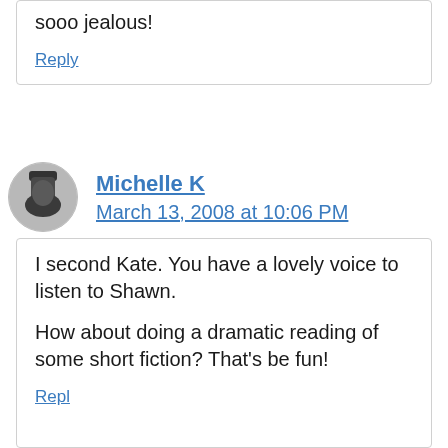sooo jealous!
Reply
Michelle K
March 13, 2008 at 10:06 PM
I second Kate. You have a lovely voice to listen to Shawn.

How about doing a dramatic reading of some short fiction? That's be fun!
Reply